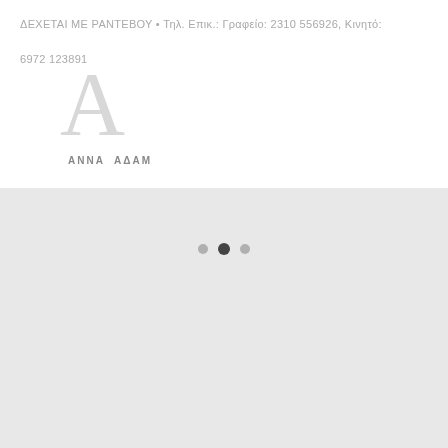ΔΕΧΕΤΑΙ ΜΕ ΡΑΝΤΕΒΟΥ • Τηλ. Επικ.: Γραφείο: 2310 556926, Κινητό: 6972 123891
[Figure (logo): Logo with large letter A and text ANNA ΑΔΑΜ below]
[Figure (other): Pagination dots - three dots with middle one active/darker, on grey background]